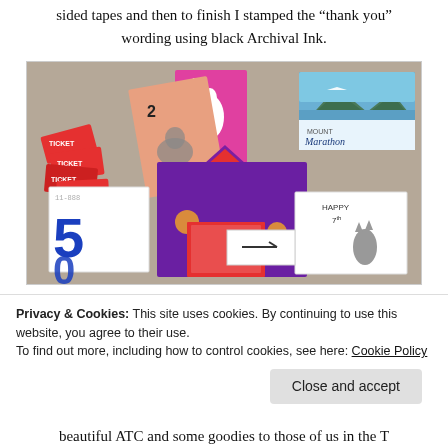sided tapes and then to finish I stamped the “thank you” wording using black Archival Ink.
[Figure (photo): A collage of various items spread on a textured surface: red tickets, playing cards (including a pink card with a llama, a card with Scooby-Doo), a 'FIESTA' card, a 'Mount Marathon' postcard showing mountains and a town, a card with the number 5, red patterned cards, a 'Happy 7th' birthday card with a cat illustration, and other paper items.]
Privacy & Cookies: This site uses cookies. By continuing to use this website, you agree to their use.
To find out more, including how to control cookies, see here: Cookie Policy
Close and accept
beautiful ATC and some goodies to those of us in the T